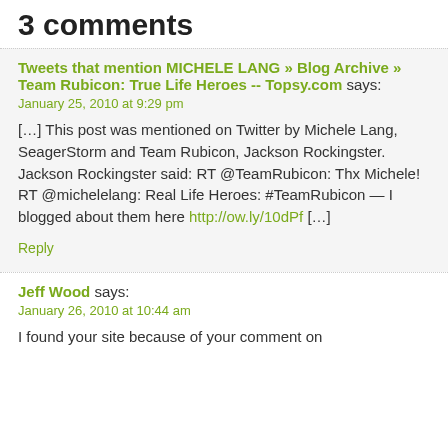3 comments
Tweets that mention MICHELE LANG » Blog Archive » Team Rubicon: True Life Heroes -- Topsy.com says:
January 25, 2010 at 9:29 pm
[…] This post was mentioned on Twitter by Michele Lang, SeagerStorm and Team Rubicon, Jackson Rockingster. Jackson Rockingster said: RT @TeamRubicon: Thx Michele! RT @michelelang: Real Life Heroes: #TeamRubicon — I blogged about them here http://ow.ly/10dPf […]
Reply
Jeff Wood says:
January 26, 2010 at 10:44 am
I found your site because of your comment on